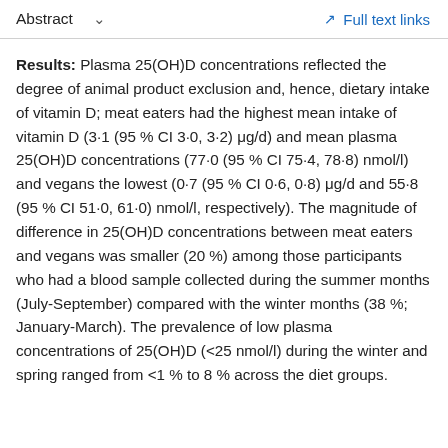Abstract  ∨   Full text links
Results: Plasma 25(OH)D concentrations reflected the degree of animal product exclusion and, hence, dietary intake of vitamin D; meat eaters had the highest mean intake of vitamin D (3·1 (95 % CI 3·0, 3·2) μg/d) and mean plasma 25(OH)D concentrations (77·0 (95 % CI 75·4, 78·8) nmol/l) and vegans the lowest (0·7 (95 % CI 0·6, 0·8) μg/d and 55·8 (95 % CI 51·0, 61·0) nmol/l, respectively). The magnitude of difference in 25(OH)D concentrations between meat eaters and vegans was smaller (20 %) among those participants who had a blood sample collected during the summer months (July-September) compared with the winter months (38 %; January-March). The prevalence of low plasma concentrations of 25(OH)D (<25 nmol/l) during the winter and spring ranged from <1 % to 8 % across the diet groups.